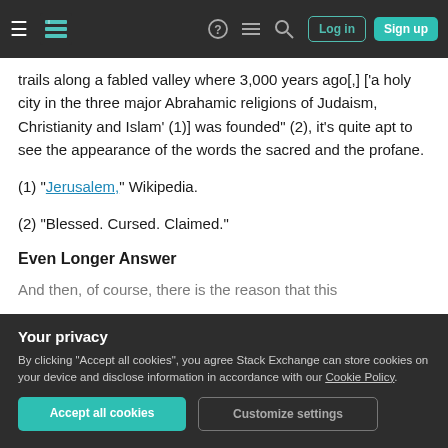Stack Exchange navigation bar with Log in and Sign up buttons
trails along a fabled valley where 3,000 years ago[,] ['a holy city in the three major Abrahamic religions of Judaism, Christianity and Islam' (1)] was founded" (2), it's quite apt to see the appearance of the words the sacred and the profane.
(1) "Jerusalem," Wikipedia.
(2) "Blessed. Cursed. Claimed."
Even Longer Answer
And then, of course, there is the reason that this
Your privacy
By clicking "Accept all cookies", you agree Stack Exchange can store cookies on your device and disclose information in accordance with our Cookie Policy.
Accept all cookies   Customize settings
is used by the author as a metaphor for peace